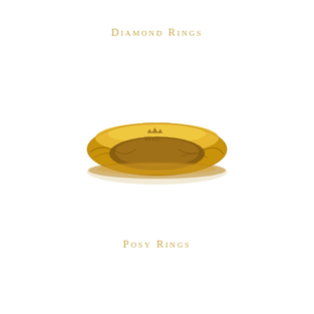Diamond Rings
[Figure (photo): A gold posy ring photographed from a slight angle, showing engraved floral decoration and text including a crown motif on the exterior surface. The ring is a plain gold band with ornate engraving.]
Posy Rings